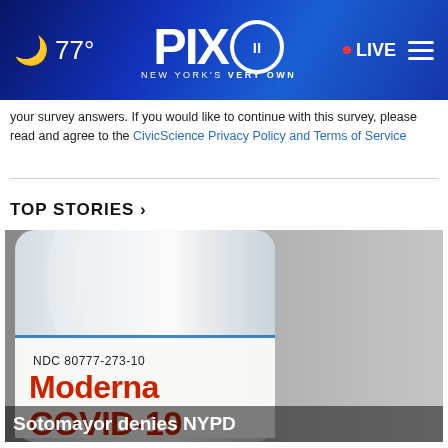PIX 11 New York's Very Own — 77° LIVE
your survey answers. If you would like to continue with this survey, please read and agree to the CivicScience Privacy Policy and Terms of Service
TOP STORIES ›
[Figure (photo): Close-up photo of a Moderna COVID-19 vaccine vial with label showing NDC 80777-273-10, red Moderna COVID-19 text, on a gray background]
Sotomayor denies NYPD